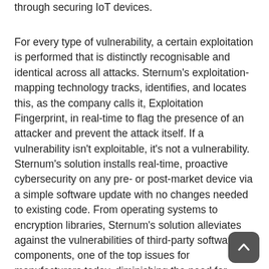through securing IoT devices.
For every type of vulnerability, a certain exploitation is performed that is distinctly recognisable and identical across all attacks. Sternum's exploitation-mapping technology tracks, identifies, and locates this, as the company calls it, Exploitation Fingerprint, in real-time to flag the presence of an attacker and prevent the attack itself. If a vulnerability isn't exploitable, it's not a vulnerability. Sternum's solution installs real-time, proactive cybersecurity on any pre- or post-market device via a simple software update with no changes needed to existing code. From operating systems to encryption libraries, Sternum's solution alleviates against the vulnerabilities of third-party software components, one of the top issues for manufacturers today, diminishing the need for companies to invest vital R&D resources into initiating a mitigation.